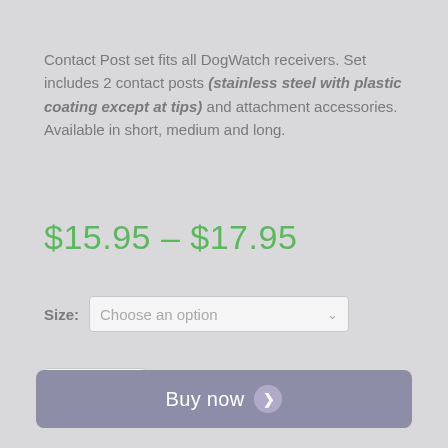Contact Post set fits all DogWatch receivers. Set includes 2 contact posts (stainless steel with plastic coating except at tips) and attachment accessories. Available in short, medium and long.
$15.95 – $17.95
Size: Choose an option
1
Buy now